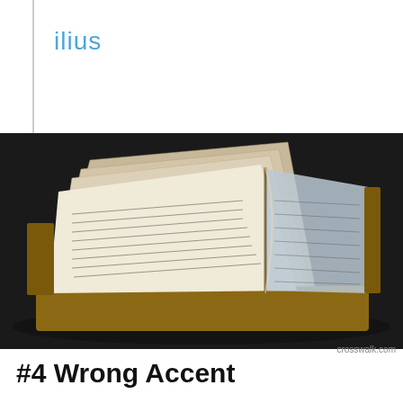ilius
[Figure (photo): An open Bible with pages fanned out, photographed against a dark background. The pages are cream/white with dense small text columns visible. The book has a golden/tan spine.]
crosswalk.com
#4 Wrong Accent